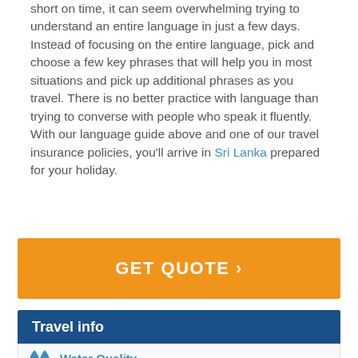short on time, it can seem overwhelming trying to understand an entire language in just a few days. Instead of focusing on the entire language, pick and choose a few key phrases that will help you in most situations and pick up additional phrases as you travel. There is no better practice with language than trying to converse with people who speak it fluently. With our language guide above and one of our travel insurance policies, you'll arrive in Sri Lanka prepared for your holiday.
GET QUOTE ›
Travel info
Water Quality